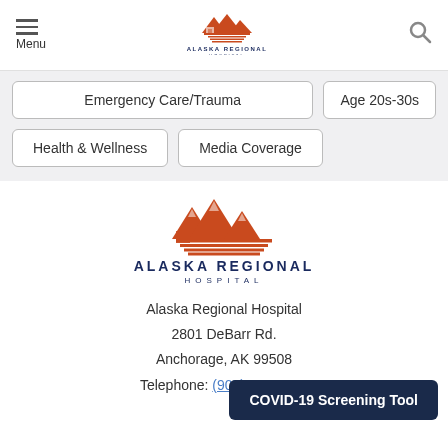[Figure (logo): Alaska Regional Hospital logo in header - orange mountain/building illustration with text ALASKA REGIONAL HOSPITAL]
Emergency Care/Trauma
Age 20s-30s
Health & Wellness
Media Coverage
[Figure (logo): Alaska Regional Hospital large footer logo - orange mountain/building illustration with text ALASKA REGIONAL HOSPITAL]
Alaska Regional Hospital
2801 DeBarr Rd.
Anchorage, AK 99508
Telephone: (907) 276-1131
COVID-19 Screening Tool